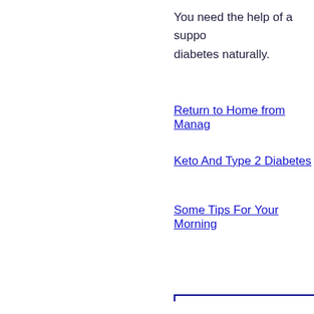You need the help of a support... diabetes naturally.
Return to Home from Manag...
Keto And Type 2 Diabetes
Some Tips For Your Morning...